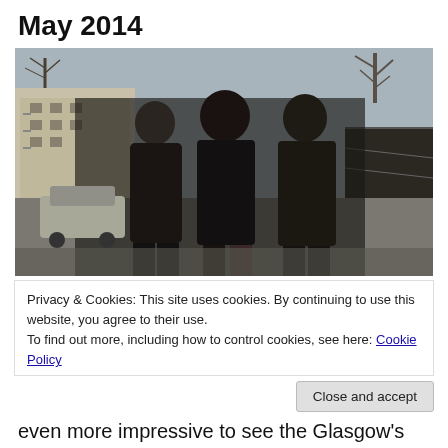May 2014
[Figure (photo): Three men in leather jackets walking on a city sidewalk with bare trees and apartment buildings in the background]
Privacy & Cookies: This site uses cookies. By continuing to use this website, you agree to their use.
To find out more, including how to control cookies, see here: Cookie Policy
Close and accept
even more impressive to see the Glasgow's Classic Grand